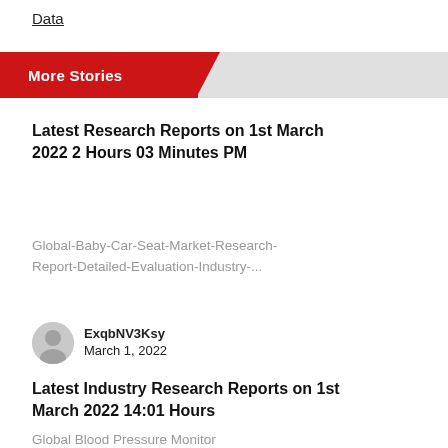Data
More Stories
Latest Research Reports on 1st March 2022 2 Hours 03 Minutes PM
Global-Baby-Car-Seat-Market-Research-Report-Detailed-Evaluation-Industry-...
ExqbNV3Ksy
March 1, 2022
Latest Industry Research Reports on 1st March 2022 14:01 Hours
Global Blood Pressure Monitor Market, Company Profile,